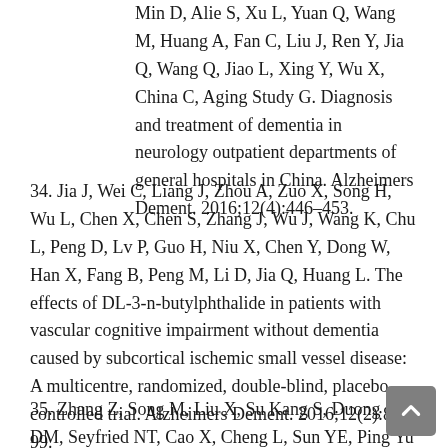Min D, Alie S, Xu L, Yuan Q, Wang M, Huang A, Fan C, Liu J, Ren Y, Jia Q, Wang Q, Jiao L, Xing Y, Wu X, China C, Aging Study G. Diagnosis and treatment of dementia in neurology outpatient departments of general hospitals in China. Alzheimers Dement. 2016;12(4):446–453.
34. Jia J, Wei C, Liang J, Zhou A, Zuo X, Song H, Wu L, Chen X, Chen S, Zhang J, Wu J, Wang K, Chu L, Peng D, Lv P, Guo H, Niu X, Chen Y, Dong W, Han X, Fang B, Peng M, Li D, Jia Q, Huang L. The effects of DL-3-n-butylphthalide in patients with vascular cognitive impairment without dementia caused by subcortical ischemic small vessel disease: A multicentre, randomized, double-blind, placebo-controlled trial. Alzheimers Dement. 2016;12(2):89–99.
35. Zhang Z, Song M, Liu X, Su Kang S, Duong DM, Seyfried NT, Cao X, Cheng L, Sun YE, Ping Yu S, Jia J, Levey AI, Ye K. Delta-secretase...